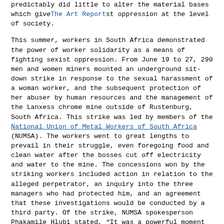predictably did little to alter the material bases which give rise to sexist oppression at the level of society.
The Art Report
This summer, workers in South Africa demonstrated the power of worker solidarity as a means of fighting sexist oppression. From June 19 to 27, 290 men and women miners mounted an underground sit-down strike in response to the sexual harassment of a woman worker, and the subsequent protection of her abuser by human resources and the management of the Lanxess chrome mine outside of Rustenburg, South Africa. This strike was led by members of the National Union of Metal Workers of South Africa (NUMSA). The workers went to great lengths to prevail in their struggle, even foregoing food and clean water after the bosses cut off electricity and water to the mine. The concessions won by the striking workers included action in relation to the alleged perpetrator, an inquiry into the three managers who had protected him, and an agreement that these investigations would be conducted by a third party. Of the strike, NUMSA spokesperson Phakamile Hlubi stated, “It was a powerful moment in labour history where men and women united and risked their lives to fight against gender-based violence. [...] They